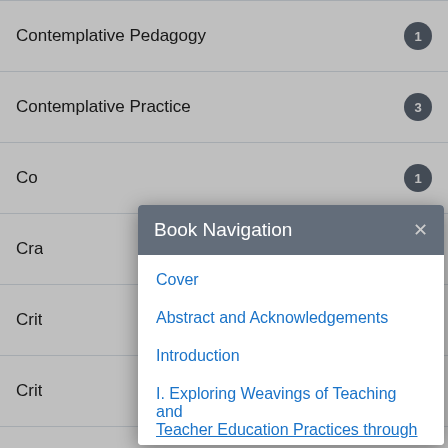Contemplative Pedagogy — 1
Contemplative Practice — 3
Co[nversation...] — 1
Cra[ft...] — 2
Cri[tical...] — 1
Cri[tical...] — 6
Cri[tical...] — 7
Critical Literacy — 2
Critical Pedagogy — 1
[Figure (screenshot): Book Navigation modal dialog showing links: Cover, Abstract and Acknowledgements, Introduction, I. Exploring Weavings of Teaching and Teacher Education Practices through...]